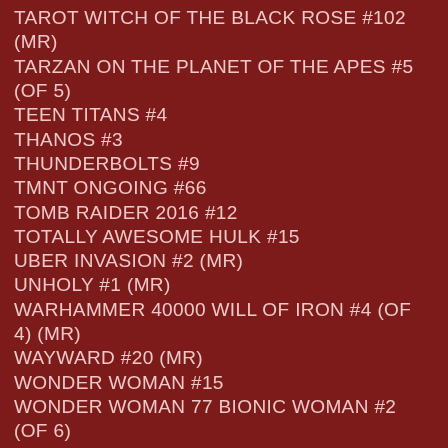TAROT WITCH OF THE BLACK ROSE #102 (MR)
TARZAN ON THE PLANET OF THE APES #5 (OF 5)
TEEN TITANS #4
THANOS #3
THUNDERBOLTS #9
TMNT ONGOING #66
TOMB RAIDER 2016 #12
TOTALLY AWESOME HULK #15
UBER INVASION #2 (MR)
UNHOLY #1 (MR)
WARHAMMER 40000 WILL OF IRON #4 (OF 4) (MR)
WAYWARD #20 (MR)
WONDER WOMAN #15
WONDER WOMAN 77 BIONIC WOMAN #2 (OF 6)
ZOMBIE TRAMP ONGOING #31 (MR)
NEW PRINTINGS
SIMPSONS ILLUSTRATED #27
RETAILER VARIANTS
AVENGERS #1.MU RETAILER BONUS VAR $19.99
BATMAN TMNT ADVENTURES #3 (OF 6) 1:10 $6.99